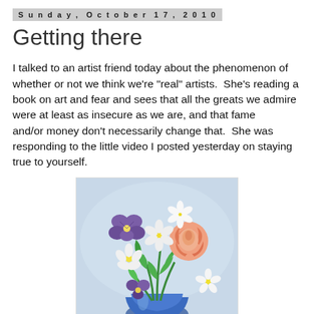Sunday, October 17, 2010
Getting there
I talked to an artist friend today about the phenomenon of whether or not we think we're "real" artists.  She's reading a book on art and fear and sees that all the greats we admire were at least as insecure as we are, and that fame and/or money don't necessarily change that.  She was responding to the little video I posted yesterday on staying true to yourself.
[Figure (illustration): A painting of colorful flowers including a pink rose, white flowers, and purple pansies in a blue vase against a light blue background.]